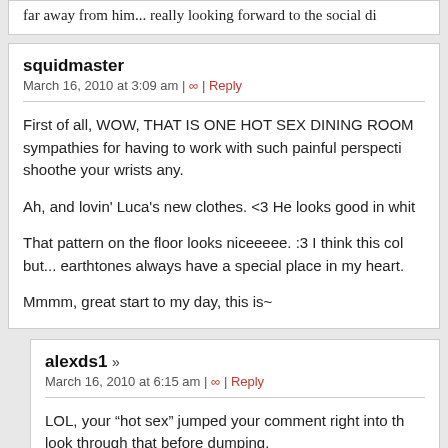far away from him... really looking forward to the social di
squidmaster
March 16, 2010 at 3:09 am | ∞ | Reply
First of all, WOW, THAT IS ONE HOT SEX DINING ROOM sympathies for having to work with such painful perspecti shoothe your wrists any.
Ah, and lovin' Luca's new clothes. <3 He looks good in whit
That pattern on the floor looks niceeeee. :3 I think this col but... earthtones always have a special place in my heart.
Mmmm, great start to my day, this is~
alexds1 »
March 16, 2010 at 6:15 am | ∞ | Reply
LOL, your "hot sex" jumped your comment right into th look through that before dumping.